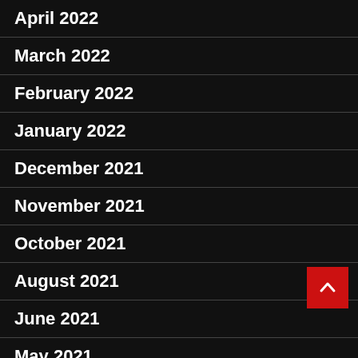April 2022
March 2022
February 2022
January 2022
December 2021
November 2021
October 2021
August 2021
June 2021
May 2021
July 2020
June 2020